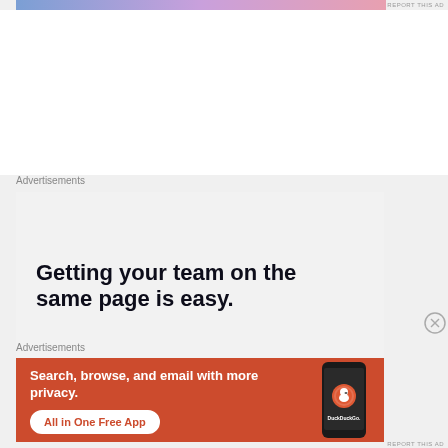[Figure (other): Top advertisement banner with gradient (blue-purple-pink)]
REPORT THIS AD
Advertisements
[Figure (other): P2 advertisement: logo with black square icon and 'P2' text, headline reading 'Getting your team on the same page is easy.']
Advertisements
[Figure (other): DuckDuckGo advertisement on orange background: 'Search, browse, and email with more privacy. All in One Free App' with phone graphic and DuckDuckGo logo]